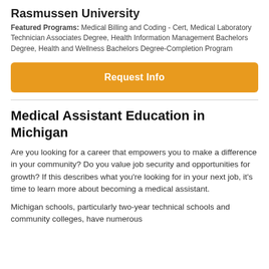Rasmussen University
Featured Programs: Medical Billing and Coding - Cert, Medical Laboratory Technician Associates Degree, Health Information Management Bachelors Degree, Health and Wellness Bachelors Degree-Completion Program
[Figure (other): Orange 'Request Info' button]
Medical Assistant Education in Michigan
Are you looking for a career that empowers you to make a difference in your community? Do you value job security and opportunities for growth? If this describes what you’re looking for in your next job, it’s time to learn more about becoming a medical assistant.
Michigan schools, particularly two-year technical schools and community colleges, have numerous